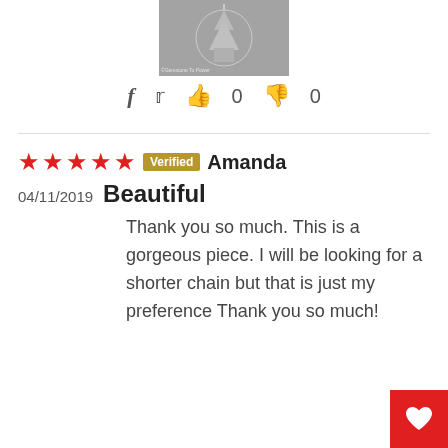[Figure (photo): Black and white product photo of a jewelry piece (necklace/pendant) shown from above]
f  [twitter icon]  [thumbs up] 0  [thumbs down] 0
★★★★★ Verified  Amanda
04/11/2019  Beautiful
Thank you so much. This is a gorgeous piece. I will be looking for a shorter chain but that is just my preference Thank you so much!
[Figure (other): Red heart/wishlist button in bottom right corner]